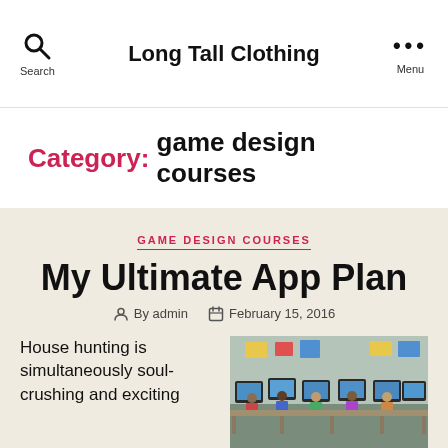Long Tall Clothing
Category: game design courses
GAME DESIGN COURSES
My Ultimate App Plan
By admin   February 15, 2016
House hunting is simultaneously soul-crushing and exciting...
[Figure (photo): Children working at computers in a classroom setting]